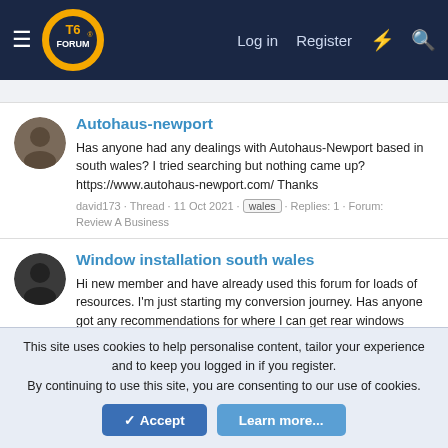T6FORUM — Log in | Register
Autohaus-newport
Has anyone had any dealings with Autohaus-Newport based in south wales? I tried searching but nothing came up? https://www.autohaus-newport.com/ Thanks
david173 · Thread · 11 Oct 2021 · wales · Replies: 1 · Forum: Review A Business
Window installation south wales
Hi new member and have already used this forum for loads of resources. I'm just starting my conversion journey. Has anyone got any recommendations for where I can get rear windows installed in/near Cardiff, tempted to do it myself but don't want them to fall out halfway down the motorway...
Jownders · Thread · 21 Sep 2020 · wales · window fitting
This site uses cookies to help personalise content, tailor your experience and to keep you logged in if you register. By continuing to use this site, you are consenting to our use of cookies.